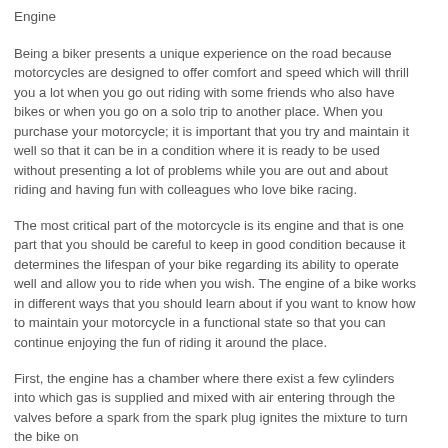Engine
Being a biker presents a unique experience on the road because motorcycles are designed to offer comfort and speed which will thrill you a lot when you go out riding with some friends who also have bikes or when you go on a solo trip to another place. When you purchase your motorcycle; it is important that you try and maintain it well so that it can be in a condition where it is ready to be used without presenting a lot of problems while you are out and about riding and having fun with colleagues who love bike racing.
The most critical part of the motorcycle is its engine and that is one part that you should be careful to keep in good condition because it determines the lifespan of your bike regarding its ability to operate well and allow you to ride when you wish. The engine of a bike works in different ways that you should learn about if you want to know how to maintain your motorcycle in a functional state so that you can continue enjoying the fun of riding it around the place.
First, the engine has a chamber where there exist a few cylinders into which gas is supplied and mixed with air entering through the valves before a spark from the spark plug ignites the mixture to turn the bike on